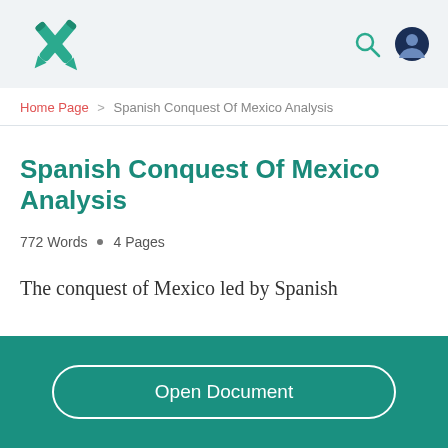GradesFixer logo, search icon, user icon
Home Page > Spanish Conquest Of Mexico Analysis
Spanish Conquest Of Mexico Analysis
772 Words • 4 Pages
The conquest of Mexico led by Spanish
Open Document